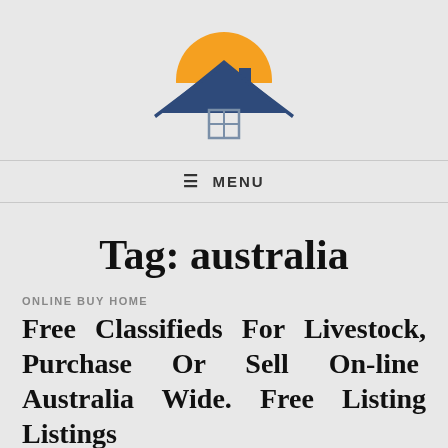[Figure (logo): House logo with orange semicircle sun above a dark blue house roof silhouette with a chimney and a window grid]
≡ MENU
Tag: australia
ONLINE BUY HOME
Free Classifieds For Livestock, Purchase Or Sell On-line Australia Wide. Free Listing Listings